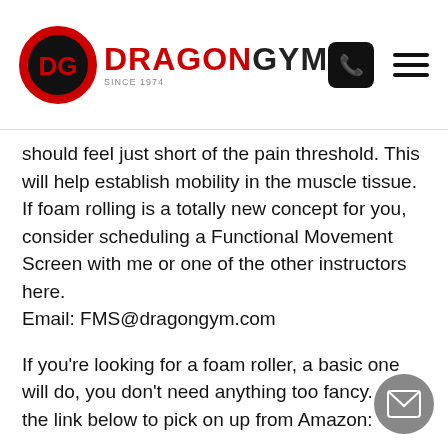Dragon Gym logo with phone and menu icons
should feel just short of the pain threshold. This will help establish mobility in the muscle tissue. If foam rolling is a totally new concept for you, consider scheduling a Functional Movement Screen with me or one of the other instructors here.
Email: FMS@dragongym.com
If you're looking for a foam roller, a basic one will do, you don't need anything too fancy.  Click the link below to pick on up from Amazon:
AmazonBasics High-Density Round Foam Ro...